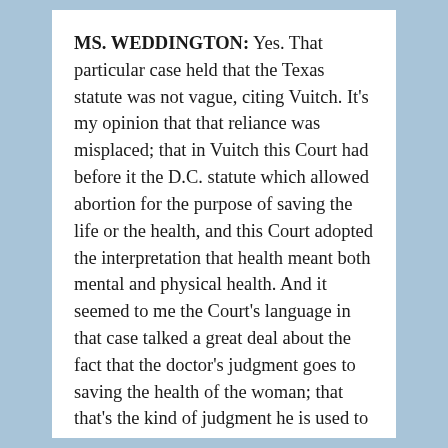MS. WEDDINGTON: Yes. That particular case held that the Texas statute was not vague, citing Vuitch. It's my opinion that that reliance was misplaced; that in Vuitch this Court had before it the D.C. statute which allowed abortion for the purpose of saving the life or the health, and this Court adopted the interpretation that health meant both mental and physical health. And it seemed to me the Court's language in that case talked a great deal about the fact that the doctor's judgment goes to saving the health of the woman; that that's the kind of judgment he is used to making. In Texas that's not the judgment he's forced to make. The judgment in Texas is: Is this necessary for the purpose of preserving the life of the woman? And the language of that statute has never been interpreted. That's not the kind of